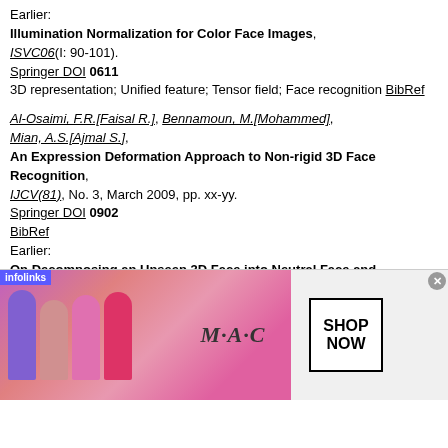Earlier: Illumination Normalization for Color Face Images, ISVC06(I: 90-101). Springer DOI 0611 3D representation; Unified feature; Tensor field; Face recognition BibRef
Al-Osaimi, F.R.[Faisal R.], Bennamoun, M.[Mohammed], Mian, A.S.[Ajmal S.], An Expression Deformation Approach to Non-rigid 3D Face Recognition, IJCV(81), No. 3, March 2009, pp. xx-yy. Springer DOI 0902 BibRef Earlier: On Decomposing an Unseen 3D Face into Neutral Face and Expression Deformations, ICB09(22-31). Springer DOI 0906
[Figure (photo): Advertisement banner for MAC cosmetics showing lipstick products and SHOP NOW box, with infolinks overlay tag and close button]